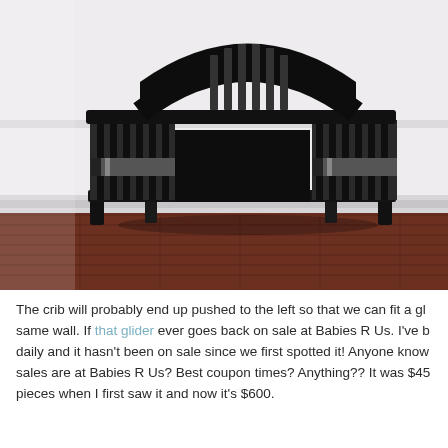[Figure (photo): A black wooden baby crib with vertical slats and an arched headboard, photographed against a white wainscoting wall with dark hardwood flooring.]
The crib will probably end up pushed to the left so that we can fit a gl same wall. If that glider ever goes back on sale at Babies R Us. I've b daily and it hasn't been on sale since we first spotted it! Anyone know sales are at Babies R Us? Best coupon times? Anything?? It was $45 pieces when I first saw it and now it's $600.